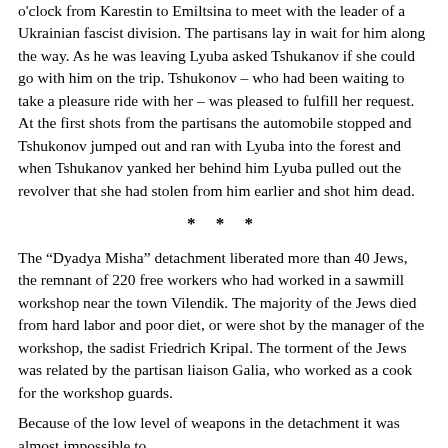o'clock from Karestin to Emiltsina to meet with the leader of a Ukrainian fascist division. The partisans lay in wait for him along the way. As he was leaving Lyuba asked Tshukanov if she could go with him on the trip. Tshukonov – who had been waiting to take a pleasure ride with her – was pleased to fulfill her request. At the first shots from the partisans the automobile stopped and Tshukonov jumped out and ran with Lyuba into the forest and when Tshukanov yanked her behind him Lyuba pulled out the revolver that she had stolen from him earlier and shot him dead.
* * *
The “Dyadya Misha” detachment liberated more than 40 Jews, the remnant of 220 free workers who had worked in a sawmill workshop near the town Vilendik. The majority of the Jews died from hard labor and poor diet, or were shot by the manager of the workshop, the sadist Friedrich Kripal. The torment of the Jews was related by the partisan liaison Galia, who worked as a cook for the workshop guards.
Because of the low level of weapons in the detachment it was almost impossible to
[Page 222]
attack the workshop, which was protected by a large number of